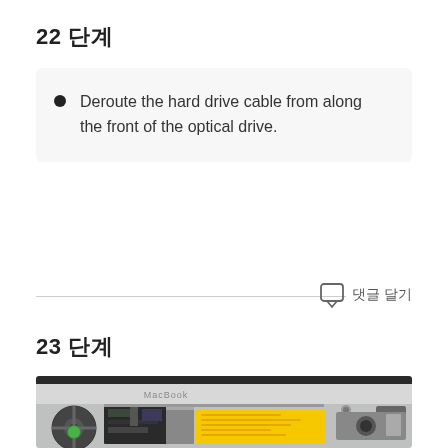22 단계
Deroute the hard drive cable from along the front of the optical drive.
댓글 달기
23 단계
[Figure (photo): Photo of MacBook internals showing the logic board, optical drive, yellow hard drive, fan, and internal components with the back cover removed.]